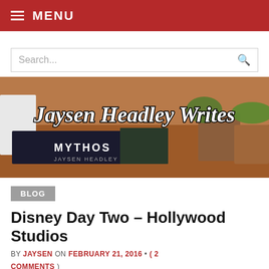MENU
Search...
[Figure (photo): Banner image for Jaysen Headley Writes blog showing books and plants on a table with cursive logo text overlay]
BLOG
Disney Day Two – Hollywood Studios
BY JAYSEN ON FEBRUARY 21, 2016 • ( 2 COMMENTS )
Another day down! Hollywood Studios is a